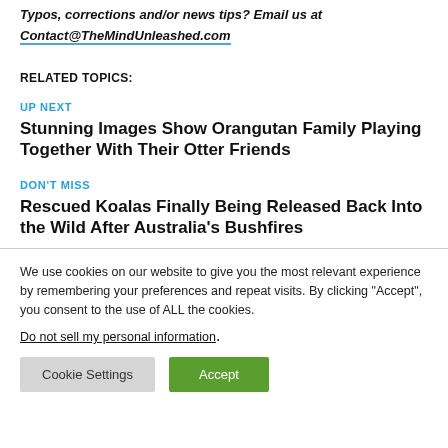Typos, corrections and/or news tips? Email us at Contact@TheMindUnleashed.com
RELATED TOPICS:
UP NEXT
Stunning Images Show Orangutan Family Playing Together With Their Otter Friends
DON'T MISS
Rescued Koalas Finally Being Released Back Into the Wild After Australia's Bushfires
We use cookies on our website to give you the most relevant experience by remembering your preferences and repeat visits. By clicking “Accept”, you consent to the use of ALL the cookies.
Do not sell my personal information.
Cookie Settings  Accept